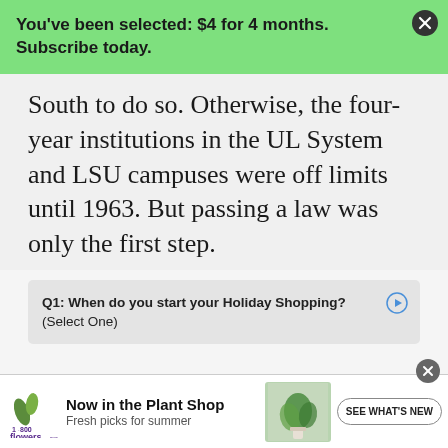You've been selected: $4 for 4 months. Subscribe today.
South to do so. Otherwise, the four-year institutions in the UL System and LSU campuses were off limits until 1963. But passing a law was only the first step.
[Figure (other): Advertisement survey widget asking Q1: When do you start your Holiday Shopping? (Select One)]
[Figure (other): 1-800 Flowers advertisement banner: Now in the Plant Shop. Fresh picks for summer. SEE WHAT'S NEW button. Plant image on right.]